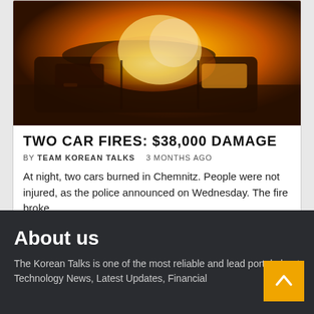[Figure (photo): A car engulfed in flames at night, orange fire visible through windows, dark background]
TWO CAR FIRES: $38,000 DAMAGE
BY TEAM KOREAN TALKS   3 MONTHS AGO
At night, two cars burned in Chemnitz. People were not injured, as the police announced on Wednesday. The fire broke…
About us
The Korean Talks is one of the most reliable and lead portal about Technology News, Latest Updates, Financial